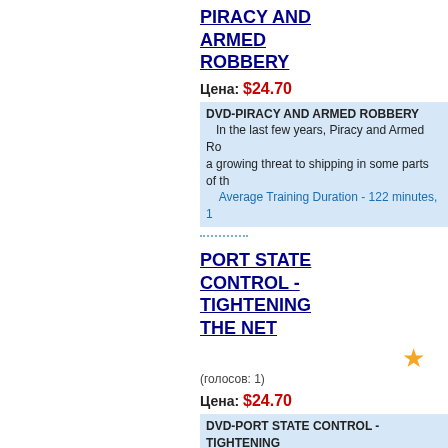PIRACY AND ARMED ROBBERY
Цена: $24.70
DVD-PIRACY AND ARMED ROBBERY
In the last few years, Piracy and Armed Ro... a growing threat to shipping in some parts of th...
Average Training Duration - 122 minutes, 1...
PORT STATE CONTROL - TIGHTENING THE NET
(голосов: 1)
Цена: $24.70
DVD-PORT STATE CONTROL - TIGHTENING...
This package provides an introduction to Po... operated under the various regional Memorand... Understanding organisations (MOU's).
Average Training Duration - 21 minutes, 1,1...
Prevention and reaction to marine oil